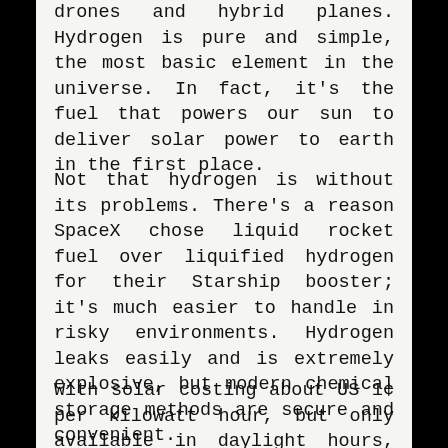drones and hybrid planes. Hydrogen is pure and simple, the most basic element in the universe. In fact, it's the fuel that powers our sun to deliver solar power to earth in the first place.
Not that hydrogen is without its problems. There's a reason SpaceX chose liquid rocket fuel over liquified hydrogen for their Starship booster; it's much easier to handle in risky environments. Hydrogen leaks easily and is extremely explosive, but modern chemical storage methods are secure and convenient.
With solar costing about US 1¢ per kilowatt hour, but only available in daylight hours, it makes sense to store all that 'free' electricity, at scale, to power the grid when the sun's not shining; and to balance unreliable supply with equally variable